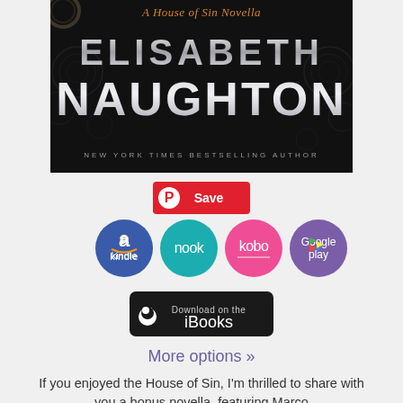[Figure (illustration): Book cover for Elisabeth Naughton's 'A House of Sin Novella' showing author name in large silver metallic text on a dark ornate background, with subtitle 'NEW YORK TIMES BESTSELLING AUTHOR']
[Figure (infographic): Pinterest Save button (red), followed by store purchase icons: Kindle (blue circle), nook (teal circle), kobo (pink circle), Google Play (purple circle), and an iBooks download button (black)]
More options »
If you enjoyed the House of Sin, I'm thrilled to share with you a bonus novella, featuring Marco